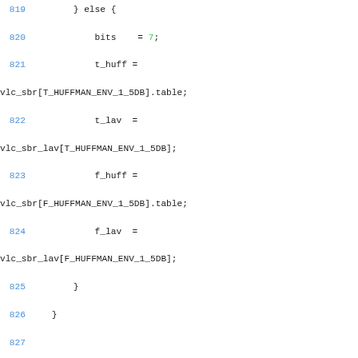Source code lines 819-834 showing C code for SBR (Spectral Band Replication) huffman table selection and envelope factor computation.